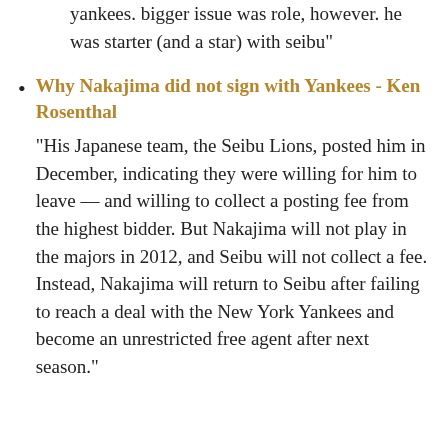yankees. bigger issue was role, however. he was starter (and a star) with seibu"
Why Nakajima did not sign with Yankees - Ken Rosenthal
"His Japanese team, the Seibu Lions, posted him in December, indicating they were willing for him to leave — and willing to collect a posting fee from the highest bidder. But Nakajima will not play in the majors in 2012, and Seibu will not collect a fee. Instead, Nakajima will return to Seibu after failing to reach a deal with the New York Yankees and become an unrestricted free agent after next season."